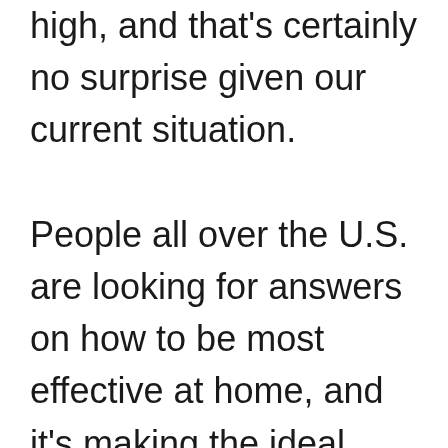high, and that's certainly no surprise given our current situation. People all over the U.S. are looking for answers on how to be most effective at home, and it's making the ideal workspace more and more desirable. In fact, best practices from seasoned